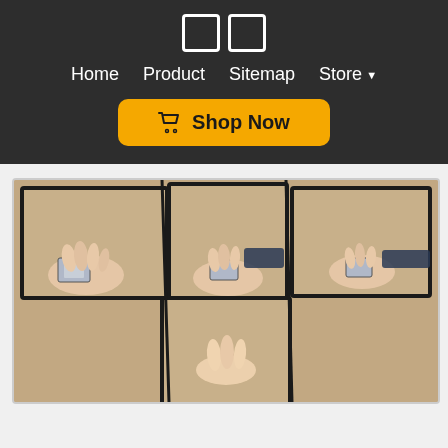☐☐ Home  Product  Sitemap  Store ▼
Shop Now
[Figure (photo): Collage of four photos showing hands performing a card trick, each panel framed in black border, on a tan/beige surface]